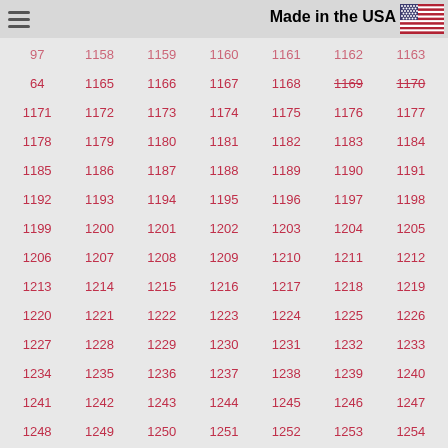Made in the USA
97, 1158, 1159, 1160, 1161, 1162, 1163, 64, 1165, 1166, 1167, 1168, 1169, 1170, 1171, 1172, 1173, 1174, 1175, 1176, 1177, 1178, 1179, 1180, 1181, 1182, 1183, 1184, 1185, 1186, 1187, 1188, 1189, 1190, 1191, 1192, 1193, 1194, 1195, 1196, 1197, 1198, 1199, 1200, 1201, 1202, 1203, 1204, 1205, 1206, 1207, 1208, 1209, 1210, 1211, 1212, 1213, 1214, 1215, 1216, 1217, 1218, 1219, 1220, 1221, 1222, 1223, 1224, 1225, 1226, 1227, 1228, 1229, 1230, 1231, 1232, 1233, 1234, 1235, 1236, 1237, 1238, 1239, 1240, 1241, 1242, 1243, 1244, 1245, 1246, 1247, 1248, 1249, 1250, 1251, 1252, 1253, 1254